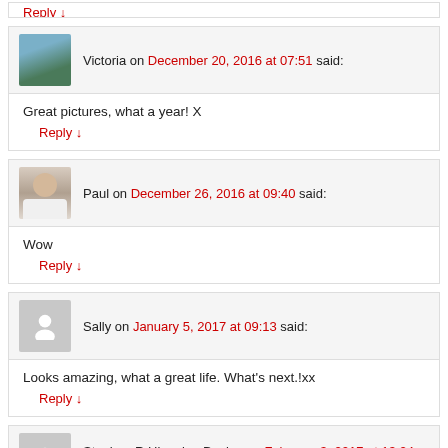Victoria on December 20, 2016 at 07:51 said:
Great pictures, what a year! X
Reply ↓
Paul on December 26, 2016 at 09:40 said:
Wow
Reply ↓
Sally on January 5, 2017 at 09:13 said:
Looks amazing, what a great life. What's next.!xx
Reply ↓
Stephen R Hingeley-Davies on February 3, 2017 at 13:24 said:
Hi Guys, did you have a good journey to the States and did Mr Trump let you in OK .? Hope by now you are both refreshed